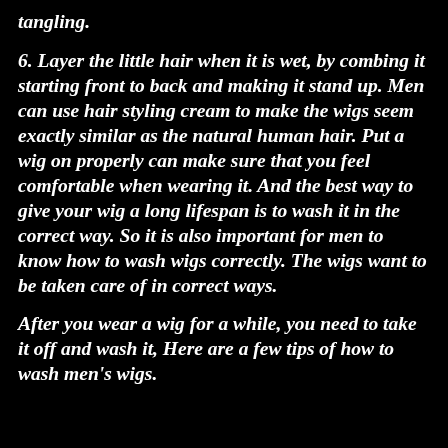tangling.
6. Layer the little hair when it is wet, by combing it starting front to back and making it stand up. Men can use hair styling cream to make the wigs seem exactly similar as the natural human hair. Put a wig on properly can make sure that you feel comfortable when wearing it. And the best way to give your wig a long lifespan is to wash it in the correct way. So it is also important for men to know how to wash wigs correctly. The wigs want to be taken care of in correct ways.
After you wear a wig for a while, you need to take it off and wash it, Here are a few tips of how to wash men's wigs.